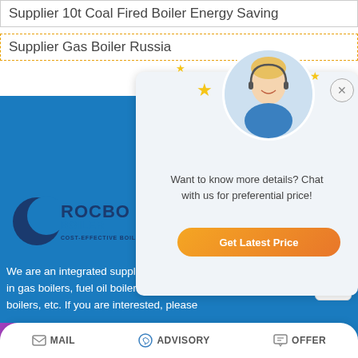Supplier 10t Coal Fired Boiler Energy Saving
Supplier Gas Boiler Russia
[Figure (screenshot): Chat popup with agent photo, stars decoration, close button, text 'Want to know more details? Chat with us for preferential price!' and orange 'Get Latest Price' button]
[Figure (logo): Rocbo Boiler logo - Cost-Effective Boiler Supplier, blue crescent and text]
We are an integrated supplier of clean boilers in China, mainly engaged in gas boilers, fuel oil boilers, electric boilers, coal-fired boilers, biomass boilers, etc. If you are interested, please
[Figure (screenshot): WhatsApp sticker save popup with phone and emoji icons on pink/purple gradient background]
MAIL   ADVISORY   OFFER